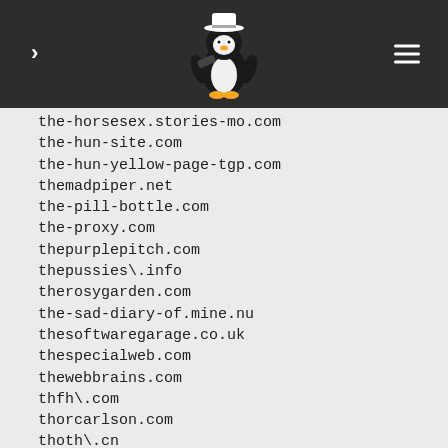navigation header with penguin logo
the-horsesex.stories-mo[...].com
the-hun-site.com
the-hun-yellow-page-tgp.com
themadpiper.net
the-pill-bottle.com
the-proxy.com
thepurplepitch.com
thepussies\.info
therosygarden.com
the-sad-diary-of.mine.nu
thesoftwaregarage.co.uk
thespecialweb.com
thewebbrains.com
thfh\.com
thorcarlson.com
thoth\.cn
thumbscape.com
thuriam.com
tianjinpump\.com
ticket88.com
ticket-marktplatz.de